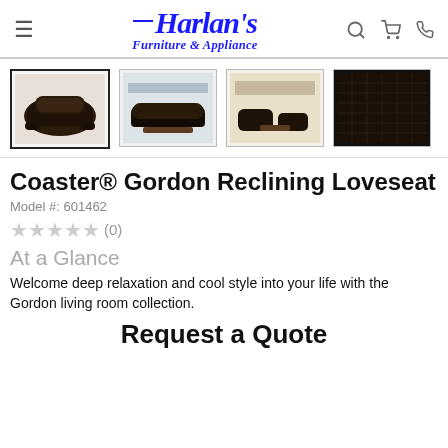[Figure (logo): Harlan's Furniture & Appliance logo in blue italic serif font with decorative line]
[Figure (photo): Four product thumbnail images of the Coaster Gordon Reclining Loveseat from different angles, plus a fabric swatch]
Coaster® Gordon Reclining Loveseat
Model #: 601462
★★★★★ (0)
At a Glance
Welcome deep relaxation and cool style into your life with the Gordon living room collection.
Request a Quote